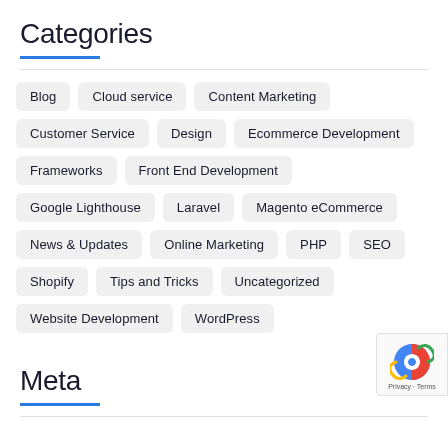Categories
Blog
Cloud service
Content Marketing
Customer Service
Design
Ecommerce Development
Frameworks
Front End Development
Google Lighthouse
Laravel
Magento eCommerce
News & Updates
Online Marketing
PHP
SEO
Shopify
Tips and Tricks
Uncategorized
Website Development
WordPress
Meta